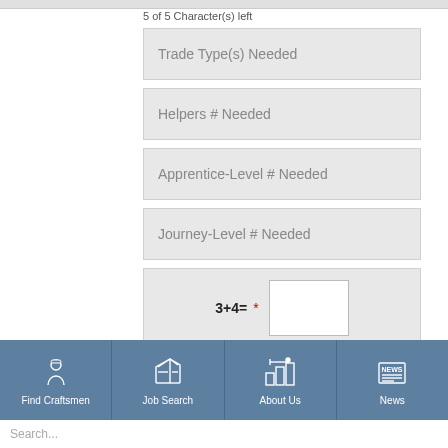5 of 5 Character(s) left
Trade Type(s) Needed
Helpers # Needed
Apprentice-Level # Needed
Journey-Level # Needed
Submit
Find Craftsmen
Job Search
About Us
News
Search...